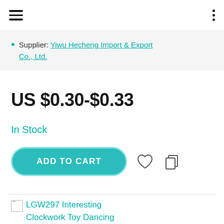Navigation bar with hamburger menu and three-dot menu
Supplier: Yiwu Hecheng Import & Export Co., Ltd.
US $0.30-$0.33
In Stock
ADD TO CART
LGW297 Interesting Clockwork Toy Dancing Swinging Robot Wind Up Toys